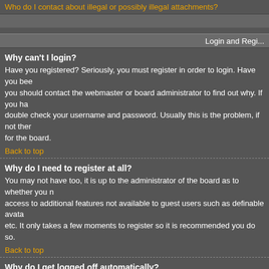Who do I contact about illegal or possibly illegal attachments?
Login and Regi...
Why can't I login?
Have you registered? Seriously, you must register in order to login. Have you been banned? you should contact the webmaster or board administrator to find out why. If you have double check your username and password. Usually this is the problem, if not then for the board.
Back to top
Why do I need to register at all?
You may not have too, it is up to the administrator of the board as to whether you need access to additional features not available to guest users such as definable avatars etc. It only takes a few moments to register so it is recommended you do so.
Back to top
Why do I get logged off automatically?
If you do not check the Log me in automatically box when you login the board will log off by anyone else. To stay logged in check the box during login, this is not recommended university cluster, etc.
Back to top
How do I prevent my username appearing in the online user listings?
In your profile you will find an option Hide your online status, if you switch this on you hidden user.
Back to top